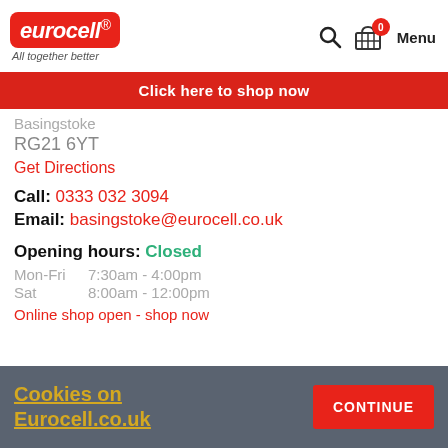eurocell. All together better — search, basket (0), Menu
Click here to shop now
Basingstoke
RG21 6YT
Get Directions
Call: 0333 032 3094
Email: basingstoke@eurocell.co.uk
Opening hours: Closed
Mon-Fri  7:30am - 4:00pm
Sat      8:00am - 12:00pm
Online shop open - shop now
Cookies on Eurocell.co.uk
CONTINUE